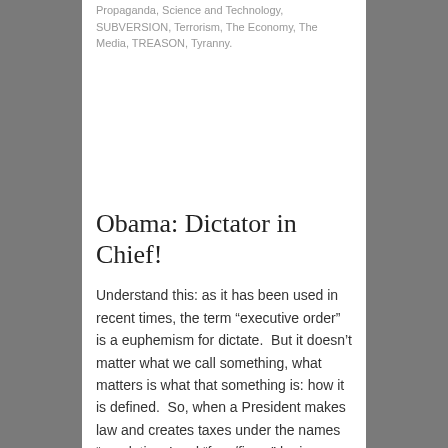Propaganda, Science and Technology, SUBVERSION, Terrorism, The Economy, The Media, TREASON, Tyranny.
Obama: Dictator in Chief!
Understand this: as it has been used in recent times, the term “executive order” is a euphemism for dictate. But it doesn’t matter what we call something, what matters is what that something is: how it is defined. So, when a President makes law and creates taxes under the names “regulations’ and “fees/fines,” he is…
June 25, 2013 in “Progressivism”, Climate Change, Constitution, Defending the Language, Energy and Transportation, Marxism/Communism/Socialism, Obama, Politics, Propaganda, SUBVERSION, TREASON, Tyranny.